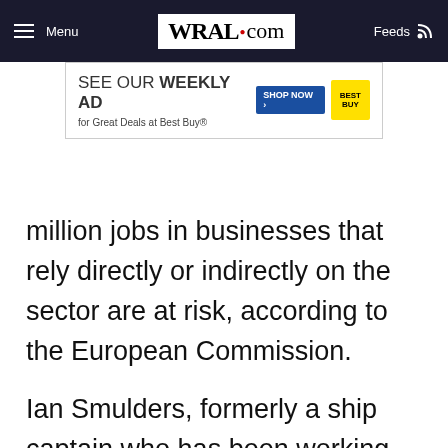Menu | WRAL.com | Feeds
[Figure (other): Best Buy advertisement banner: SEE OUR WEEKLY AD for Great Deals at Best Buy® with SHOP NOW button and Best Buy logo]
million jobs in businesses that rely directly or indirectly on the sector are at risk, according to the European Commission.
Ian Smulders, formerly a ship captain who has been working as a tour guide in Crete since leaving Ireland in 2004, said he received the last of three €299 ($362) checks from the Greek government in January. "This is supposed to keep me going until May when